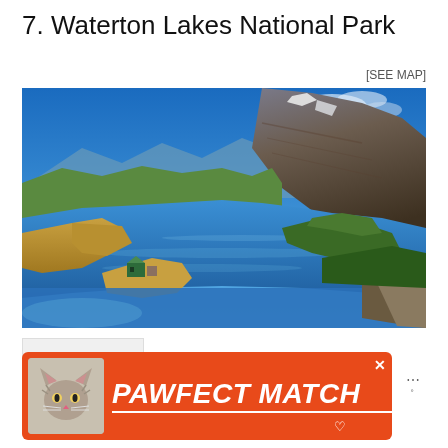7. Waterton Lakes National Park
[SEE MAP]
[Figure (photo): Aerial photograph of Waterton Lakes National Park showing a large blue lake surrounded by mountains, green forest, and golden grasslands. A dramatic rocky mountain peak with snow patches dominates the right side. A historic hotel building is visible on a promontory in the lower left.]
[Figure (other): Advertisement banner for PAWFECT MATCH featuring a tabby cat image on the left and bold italic white text on an orange/red background. A heart icon and close button are visible.]